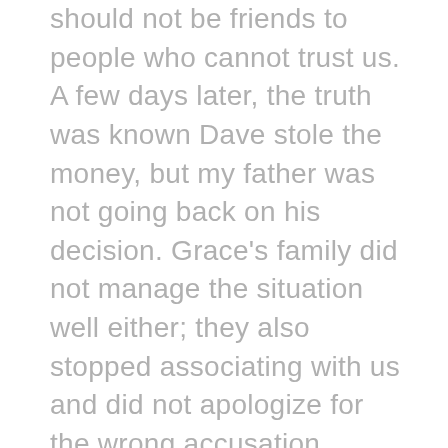should not be friends to people who cannot trust us. A few days later, the truth was known Dave stole the money, but my father was not going back on his decision. Grace's family did not manage the situation well either; they also stopped associating with us and did not apologize for the wrong accusation. My family is a Christian family who knew and accepted the Lord Jesus as our savior, but we were not going to forgive Grace's family. Few years after, at a revival service in the church, the preacher spoke about forgiveness and reminded us of Matt 18: 21- 22. The Holy Spirit convinced my father about forgiving the Williams and that night led his